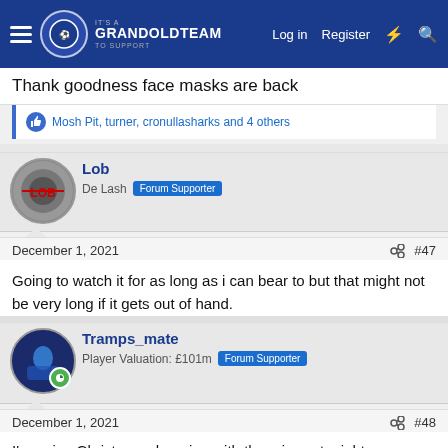GrandOldTeam — Log in  Register
Thank goodness face masks are back
Mosh Pit, turner, cronullasharks and 4 others
Lob
De Lash  Forum Supporter
December 1, 2021  #47
Going to watch it for as long as i can bear to but that might not be very long if it gets out of hand.
Tramps_mate
Player Valuation: £101m  Forum Supporter
December 1, 2021  #48
I'm going Christmas shopping with the missus tonight.